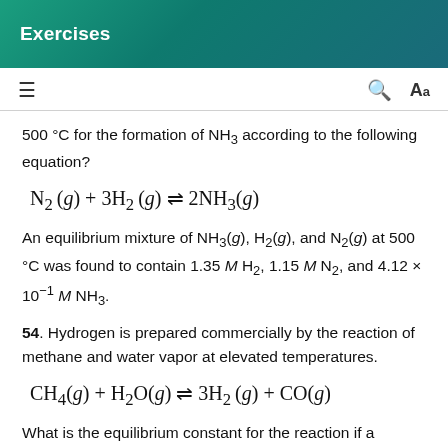Exercises
500 °C for the formation of NH₃ according to the following equation?
An equilibrium mixture of NH₃(g), H₂(g), and N₂(g) at 500 °C was found to contain 1.35 M H₂, 1.15 M N₂, and 4.12 × 10⁻¹ M NH₃.
54. Hydrogen is prepared commercially by the reaction of methane and water vapor at elevated temperatures.
What is the equilibrium constant for the reaction if a mixture at equilibrium contains gases with the following concentrations: CH₄, 0.126 M; H₂O, 0.242